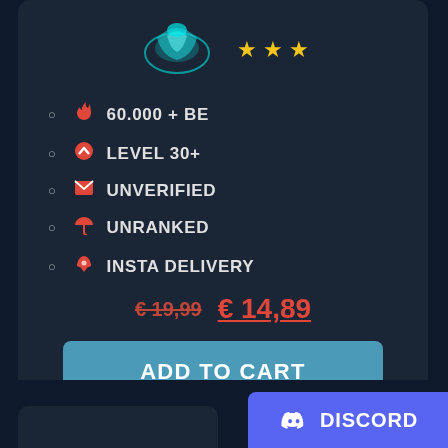[Figure (illustration): Teal/cyan decorative icon at top of card, partially cropped]
[Figure (illustration): Three gold/yellow star rating icons]
60.000 + BE
LEVEL 30+
UNVERIFIED
UNRANKED
INSTA DELIVERY
€19,99  €14,89
ADD TO CART
DETAILS
[Figure (logo): Discord logo badge in purple/indigo with white Discord icon and text 'DISCORD']